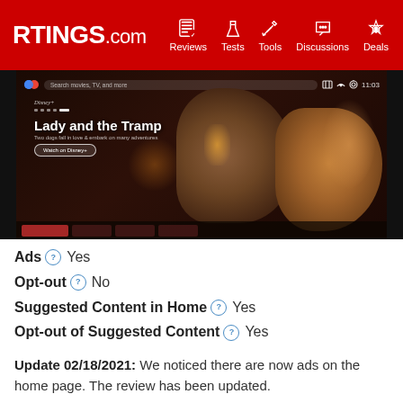RTINGS.com — Reviews, Tests, Tools, Discussions, Deals
[Figure (screenshot): Screenshot of a Google TV interface showing 'Lady and the Tramp' on Disney+ with two dogs facing each other. Interface shows search bar, status icons showing 11:03, and navigation dots. A 'Watch on Disney+' button is visible.]
Ads ⓘ Yes
Opt-out ⓘ No
Suggested Content in Home ⓘ Yes
Opt-out of Suggested Content ⓘ Yes
Update 02/18/2021: We noticed there are now ads on the home page. The review has been updated.